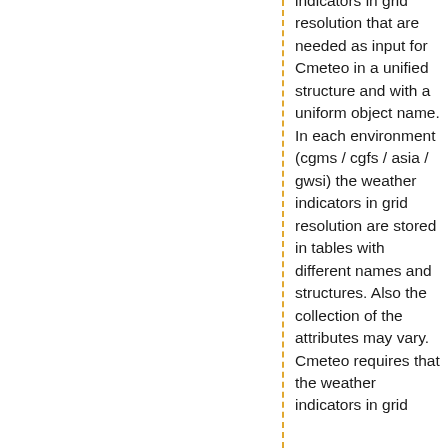indicators in grid resolution that are needed as input for Cmeteo in a unified structure and with a uniform object name. In each environment (cgms / cgfs / asia / gwsi) the weather indicators in grid resolution are stored in tables with different names and structures. Also the collection of the attributes may vary. Cmeteo requires that the weather indicators in grid